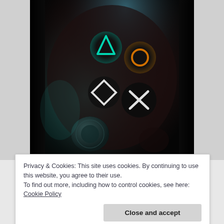[Figure (photo): Close-up photo of a PlayStation controller face buttons (triangle in teal, circle in orange, square in white, X in white) glowing on a dark controller body, with teal/blue ambient lighting.]
Privacy & Cookies: This site uses cookies. By continuing to use this website, you agree to their use.
To find out more, including how to control cookies, see here: Cookie Policy
Close and accept